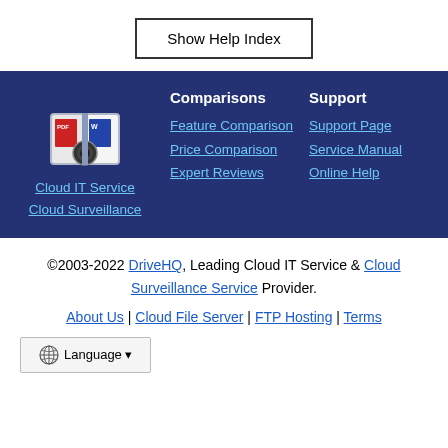Show Help Index
[Figure (logo): Cloud IT Service and document management logo showing PDF and Word document icons with a camera lens]
Cloud IT Service
Cloud Surveillance
Comparisons
Feature Comparison
Price Comparison
Expert Reviews
Support
Support Page
Service Manual
Online Help
©2003-2022 DriveHQ, Leading Cloud IT Service & Cloud Surveillance Service Provider. About Us | Cloud File Server | FTP Hosting | Terms Language